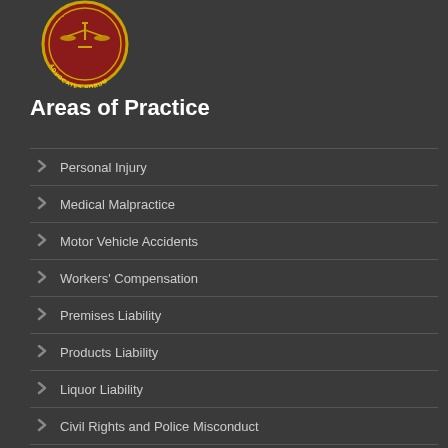[Figure (logo): Advocates Forum logo — circular seal with scales of justice, red and gold on dark background]
Areas of Practice
Personal Injury
Medical Malpractice
Motor Vehicle Accidents
Workers' Compensation
Premises Liability
Products Liability
Liquor Liability
Civil Rights and Police Misconduct
Roadway Design and Maintenance
Construction Accidents